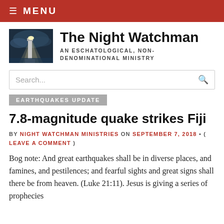≡ MENU
The Night Watchman
AN ESCHATOLOGICAL, NON-DENOMINATIONAL MINISTRY
Search...
EARTHQUAKES UPDATE
7.8-magnitude quake strikes Fiji
BY NIGHT WATCHMAN MINISTRIES ON SEPTEMBER 7, 2018 • ( LEAVE A COMMENT )
Bog note: And great earthquakes shall be in diverse places, and famines, and pestilences; and fearful sights and great signs shall there be from heaven. (Luke 21:11). Jesus is giving a series of prophecies